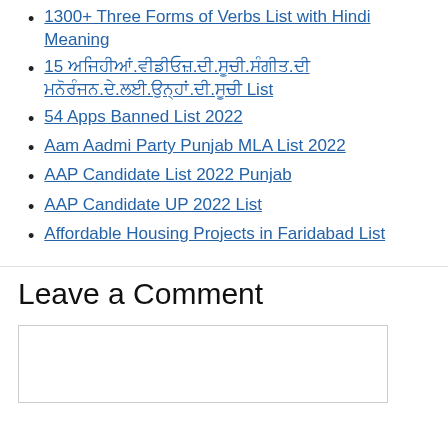1300+ Three Forms of Verbs List with Hindi Meaning
15 ਅਜਿਹੀਆਂ.ਵੀਡੀਓਜ਼.ਦੀ.ਸੂਚੀ.ਸੰਗੀਤ.ਦੀ ਮਨੋਰੰਜਨ.ਦੇ.ਲਈ.ਉਨ੍ਹਾਂ.ਦੀ.ਸੂਚੀ List
54 Apps Banned List 2022
Aam Aadmi Party Punjab MLA List 2022
AAP Candidate List 2022 Punjab
AAP Candidate UP 2022 List
Affordable Housing Projects in Faridabad List
Leave a Comment